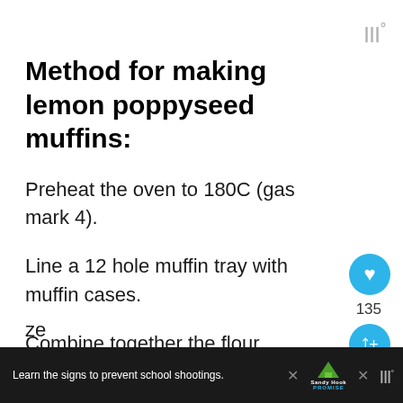|||°
Method for making lemon poppyseed muffins:
Preheat the oven to 180C (gas mark 4).
Line a 12 hole muffin tray with muffin cases.
Combine together the flour, sugar, lemo...
Learn the signs to prevent school shootings. Sandy Hook Promise